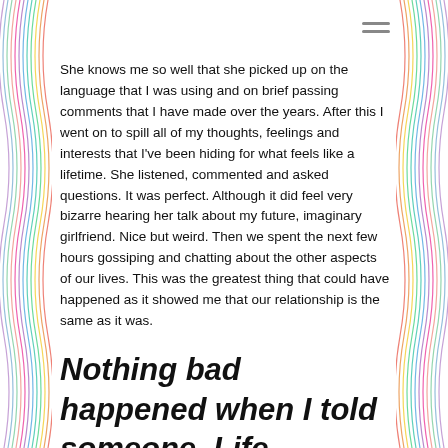She knows me so well that she picked up on the language that I was using and on brief passing comments that I have made over the years. After this I went on to spill all of my thoughts, feelings and interests that I've been hiding for what feels like a lifetime. She listened, commented and asked questions. It was perfect. Although it did feel very bizarre hearing her talk about my future, imaginary girlfriend. Nice but weird. Then we spent the next few hours gossiping and chatting about the other aspects of our lives. This was the greatest thing that could have happened as it showed me that our relationship is the same as it was.
Nothing bad happened when I told someone. Life actually resumed as it